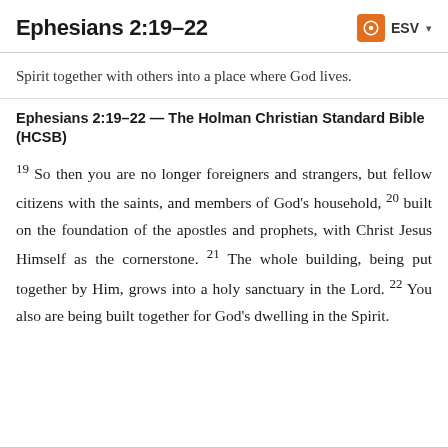Ephesians 2:19–22
Spirit together with others into a place where God lives.
Ephesians 2:19–22 — The Holman Christian Standard Bible (HCSB)
19 So then you are no longer foreigners and strangers, but fellow citizens with the saints, and members of God's household, 20 built on the foundation of the apostles and prophets, with Christ Jesus Himself as the cornerstone. 21 The whole building, being put together by Him, grows into a holy sanctuary in the Lord. 22 You also are being built together for God's dwelling in the Spirit.